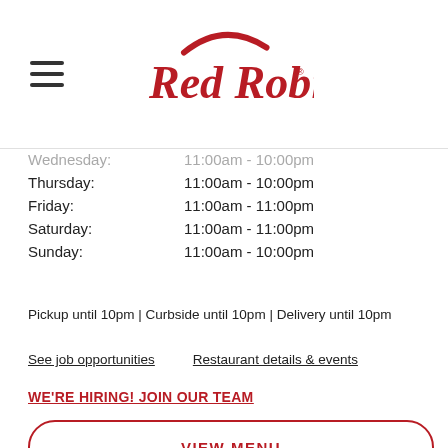[Figure (logo): Red Robin restaurant logo in red script font]
| Day | Hours |
| --- | --- |
| Wednesday: | 11:00am - 10:00pm |
| Thursday: | 11:00am - 10:00pm |
| Friday: | 11:00am - 11:00pm |
| Saturday: | 11:00am - 11:00pm |
| Sunday: | 11:00am - 10:00pm |
Pickup until 10pm | Curbside until 10pm | Delivery until 10pm
See job opportunities   Restaurant details & events
WE'RE HIRING! JOIN OUR TEAM
VIEW MENU
ORDER ONLINE